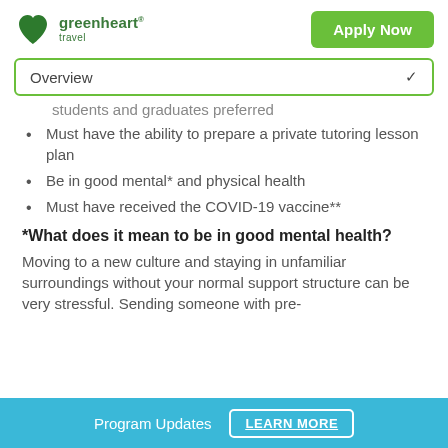[Figure (logo): Greenheart Travel logo with green heart icon and green text]
Apply Now
Overview
students and graduates preferred
Must have the ability to prepare a private tutoring lesson plan
Be in good mental* and physical health
Must have received the COVID-19 vaccine**
*What does it mean to be in good mental health?
Moving to a new culture and staying in unfamiliar surroundings without your normal support structure can be very stressful. Sending someone with pre-
Program Updates   LEARN MORE